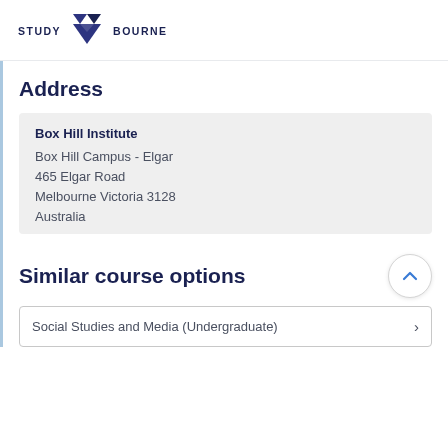[Figure (logo): Study Melbourne logo with dark navy triangle/arrow icon and bold uppercase text STUDY MELBOURNE]
Address
Box Hill Institute
Box Hill Campus - Elgar
465 Elgar Road
Melbourne Victoria 3128
Australia
Similar course options
Social Studies and Media (Undergraduate)